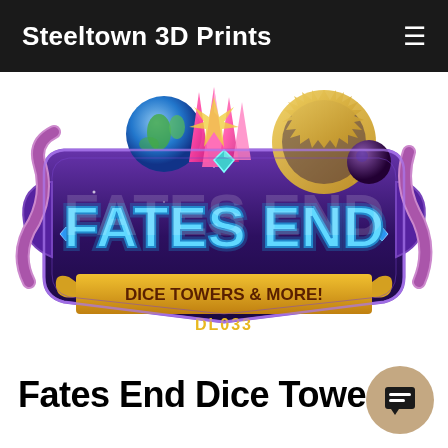Steeltown 3D Prints
[Figure (logo): Fates End Dice Towers & More! DL033 — fantasy game logo with purple shield, pink crystals, golden scroll banner, globe, tentacle, gears, and celestial orb]
Fates End Dice Towe